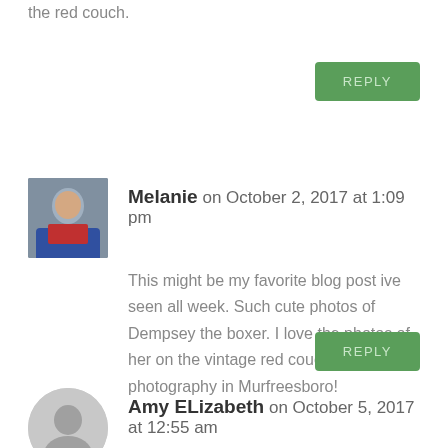the red couch.
[Figure (other): Green REPLY button]
Melanie on October 2, 2017 at 1:09 pm
[Figure (photo): Avatar photo of Melanie wearing blue jacket]
This might be my favorite blog post ive seen all week. Such cute photos of Dempsey the boxer. I love the photos of her on the vintage red couch, perfect pet photography in Murfreesboro!
[Figure (other): Green REPLY button]
Amy ELizabeth on October 5, 2017 at 12:55 am
[Figure (other): Gray placeholder avatar silhouette]
What a sweet puppy portrait session!!! Loving these Murfreesboro pet photos.. thank you for sharing about this cute Boxer!